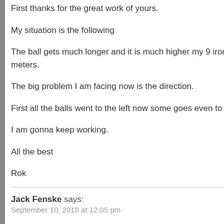First thanks for the great work of yours.
My situation is the following
The ball gets much longer and it is much higher my 9 iron now meters.
The big problem I am facing now is the direction.
First all the balls went to the left now some goes even to the ri
I am gonna keep working.
All the best
Rok
Jack Fenske says: September 10, 2010 at 12:05 pm
Andy
I have been using the new four moves for about 6 weeks now, big back swing but use everything else as I should. I now go s fairway in the last 54 holes My drives are about 20-30 yards fa